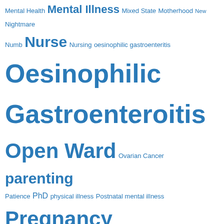Mental Health Mental Illness Mixed State Motherhood New Nightmare Numb Nurse Nursing oesinophilic gastroenteritis Oesinophilic Gastroenteroitis Open Ward Ovarian Cancer parenting Patience PhD physical illness Postnatal mental illness Pregnancy Pressure Psychosis Random Family Shiz Recovery Relapse Seroquel Sleep deprivation Stephen Fry Steroids stigma Stockholm Syndrome stress Suicide Surgery Thank You Therapy Thesis
Privacy & Cookies: This site uses cookies. By continuing to use this website, you agree to their use. To find out more, including how to control cookies, see here: Cookie Policy
Close and accept